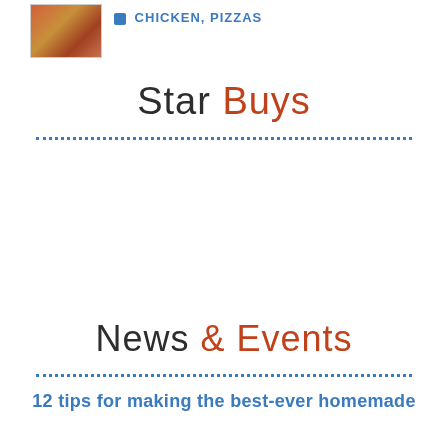[Figure (photo): Small thumbnail image of food (chicken pizza) with a blue tag label reading 'Chicken, Pizzas']
Star Buys
News & Events
12 tips for making the best-ever homemade